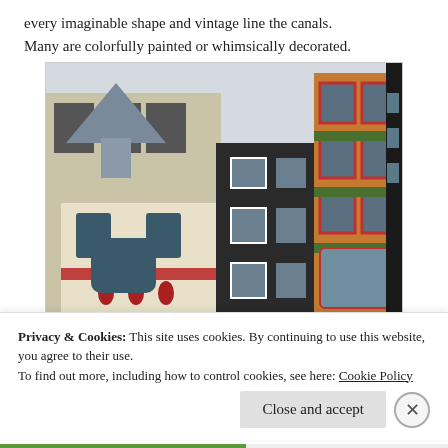every imaginable shape and vintage line the canals. Many are colorfully painted or whimsically decorated.
[Figure (photo): Photograph of colorful Amsterdam canal houses with diverse architectural styles including a turret, ornate facades, and brick buildings with red-framed windows.]
Privacy & Cookies: This site uses cookies. By continuing to use this website, you agree to their use.
To find out more, including how to control cookies, see here: Cookie Policy
Close and accept